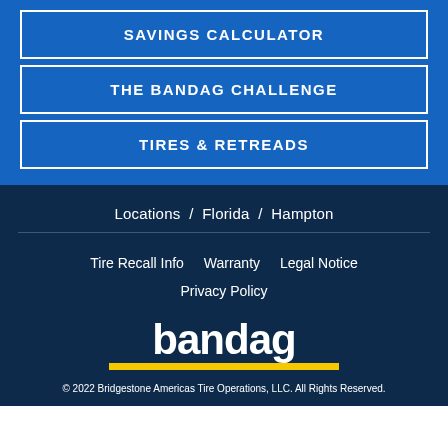SAVINGS CALCULATOR
THE BANDAG CHALLENGE
TIRES & RETREADS
Locations / Florida / Hampton
Tire Recall Info   Warranty   Legal Notice   Privacy Policy
[Figure (logo): Bandag logo — white lowercase 'bandag' text with yellow underbar]
© 2022 Bridgestone Americas Tire Operations, LLC. All Rights Reserved.